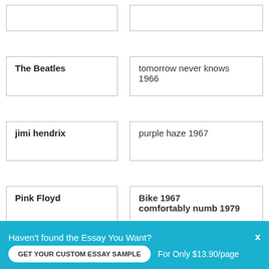| Artist | Song |
| --- | --- |
| The Beatles | tomorrow never knows 1966 |
| jimi hendrix | purple haze 1967 |
| Pink Floyd | Bike 1967
comfortably numb 1979 |
| Led Zeppelin | Whole lotta love 1969 |
Haven't found the Essay You Want?
GET YOUR CUSTOM ESSAY SAMPLE
For Only $13.90/page